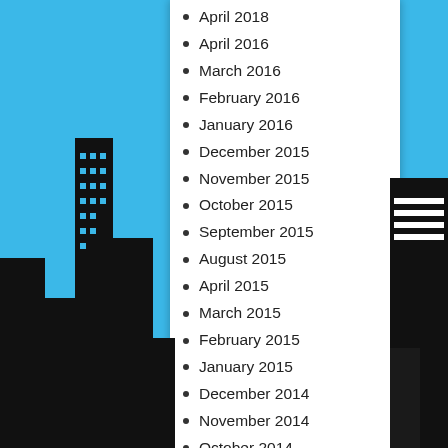[Figure (illustration): City skyline silhouette on blue background, left side]
[Figure (illustration): City skyline silhouette on blue background, right side]
April 2018
April 2016
March 2016
February 2016
January 2016
December 2015
November 2015
October 2015
September 2015
August 2015
April 2015
March 2015
February 2015
January 2015
December 2014
November 2014
October 2014
September 2014
August 2014
July 2014